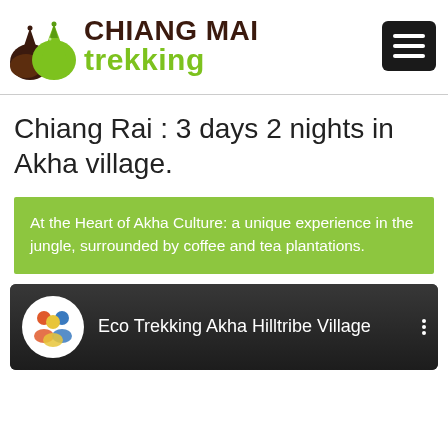[Figure (logo): Chiang Mai Trekking logo with mountain silhouettes in brown and green, and text CHIANG MAI in dark brown bold and trekking in green bold]
Chiang Rai : 3 days 2 nights in Akha village.
At the Heart of Akha Culture: a unique experience in the jungle, surrounded by coffee and tea plantations.
[Figure (screenshot): YouTube video card showing Eco Trekking Akha Hilltribe Village with channel avatar of people icon (Ode Asia Travel) on dark background]